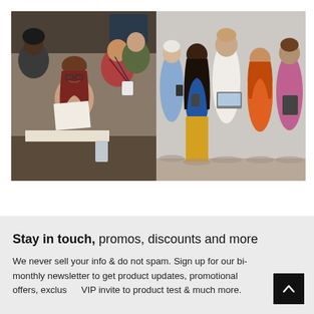[Figure (photo): Group of diverse colleagues gathered around a desk, smiling and reviewing documents in an office setting.]
[Figure (photo): Group of five diverse people standing against a light wall, looking at phones and a laptop, casually dressed.]
Stay in touch, promos, discounts and more
We never sell your info & do not spam. Sign up for our bi-monthly newsletter to get product updates, promotional offers, exclusive VIP invite to product test & much more.